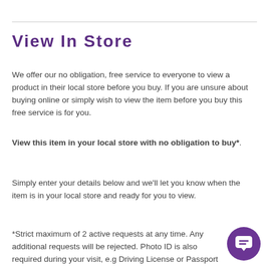View In Store
We offer our no obligation, free service to everyone to view a product in their local store before you buy. If you are unsure about buying online or simply wish to view the item before you buy this free service is for you.
View this item in your local store with no obligation to buy*.
Simply enter your details below and we'll let you know when the item is in your local store and ready for you to view.
*Strict maximum of 2 active requests at any time. Any additional requests will be rejected. Photo ID is also required during your visit, e.g Driving License or Passport to